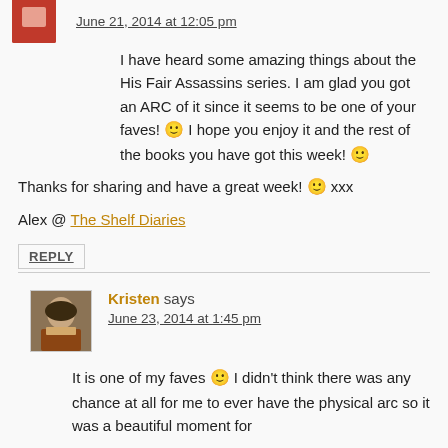June 21, 2014 at 12:05 pm
I have heard some amazing things about the His Fair Assassins series. I am glad you got an ARC of it since it seems to be one of your faves! 🙂 I hope you enjoy it and the rest of the books you have got this week! 🙂
Thanks for sharing and have a great week! 🙂 xxx
Alex @ The Shelf Diaries
REPLY
Kristen says
June 23, 2014 at 1:45 pm
It is one of my faves 🙂 I didn't think there was any chance at all for me to ever have the physical arc so it was a beautiful moment for